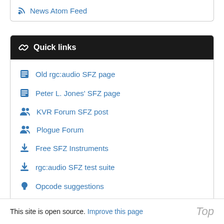News Atom Feed
Quick links
Old rgc:audio SFZ page
Peter L. Jones' SFZ page
KVR Forum SFZ post
Plogue Forum
Free SFZ Instruments
rgc:audio SFZ test suite
Opcode suggestions
This site is open source. Improve this page   Top